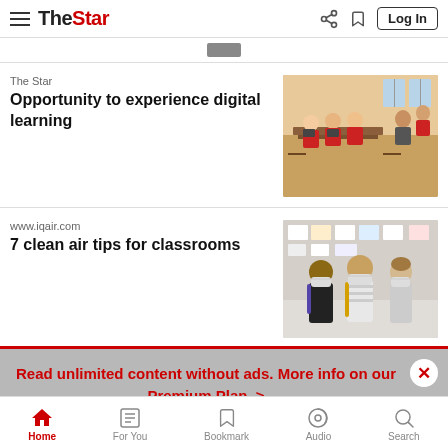The Star — Log In
The Star
Opportunity to experience digital learning
[Figure (photo): Students wearing red uniforms sitting at desks in a classroom doing an activity]
www.iqair.com
7 clean air tips for classrooms
[Figure (photo): Three children wearing face masks standing together, likely in a school setting]
Read unlimited content without ads. More info on our Premium Plan. >
Home  For You  Bookmark  Audio  Search